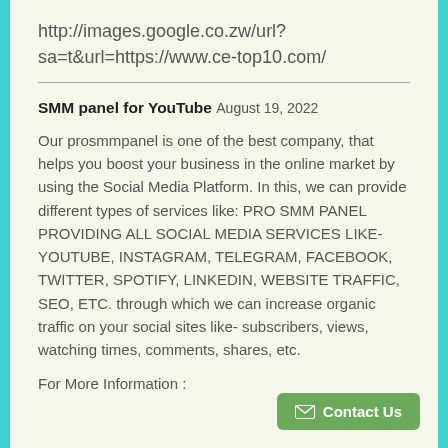http://images.google.co.zw/url?sa=t&url=https://www.ce-top10.com/
SMM panel for YouTube August 19, 2022
Our prosmmpanel is one of the best company, that helps you boost your business in the online market by using the Social Media Platform. In this, we can provide different types of services like: PRO SMM PANEL PROVIDING ALL SOCIAL MEDIA SERVICES LIKE- YOUTUBE, INSTAGRAM, TELEGRAM, FACEBOOK, TWITTER, SPOTIFY, LINKEDIN, WEBSITE TRAFFIC, SEO, ETC. through which we can increase organic traffic on your social sites like- subscribers, views, watching times, comments, shares, etc.
For More Information :